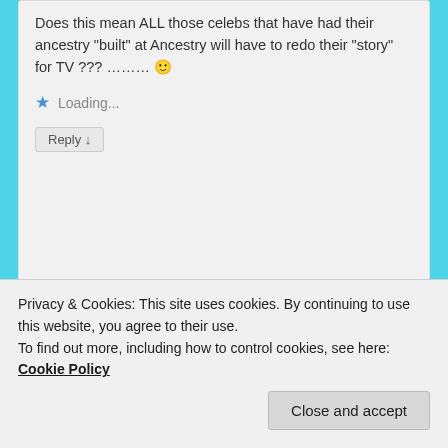Does this mean ALL those celebs that have had their ancestry "built" at Ancestry will have to redo their "story" for TV ??? …….. 🙂
Loading...
Reply ↓
[Figure (illustration): Green and white quilt-pattern square avatar for user kim paterson]
kim paterson on June 4, 2015 at 9:11 pm said:
Fantastic article, right on the money!!! Now, if only
Privacy & Cookies: This site uses cookies. By continuing to use this website, you agree to their use.
To find out more, including how to control cookies, see here: Cookie Policy
Close and accept